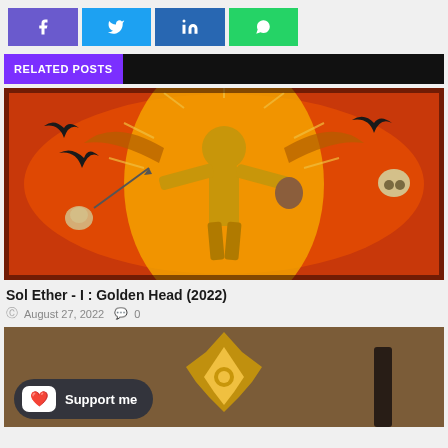[Figure (other): Social media share buttons: Facebook (purple), Twitter (blue), LinkedIn (dark blue), WhatsApp (green)]
RELATED POSTS
[Figure (illustration): Fantasy artwork showing a muscular golden figure with wings, holding a severed head, surrounded by fire, ravens, skulls and dark imagery]
Sol Ether - I : Golden Head (2022)
August 27, 2022  0
[Figure (illustration): Dark golden fantasy emblem/logo on a brown/sepia background with a support overlay button]
Support me